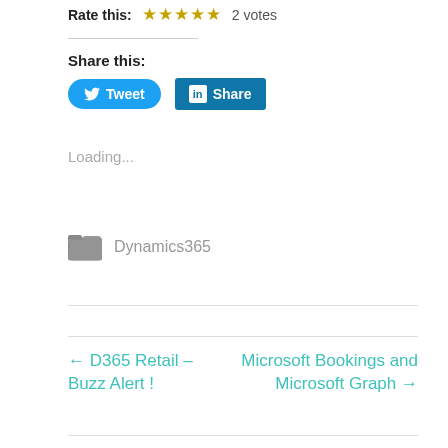Rate this: 2 votes
Share this:
[Figure (other): Tweet button (blue rounded) and LinkedIn Share button (teal square)]
Loading...
Dynamics365
← D365 Retail – Buzz Alert !
Microsoft Bookings and Microsoft Graph →